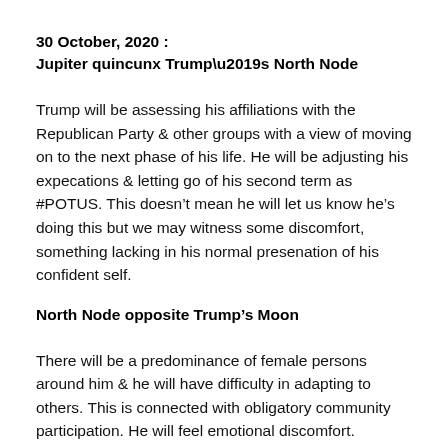30 October, 2020 :
Jupiter quincunx Trump’s North Node
Trump will be assessing his affiliations with the Republican Party & other groups with a view of moving on to the next phase of his life. He will be adjusting his expecations & letting go of his second term as #POTUS. This doesn’t mean he will let us know he’s doing this but we may witness some discomfort, something lacking in his normal presenation of his confident self.
North Node opposite Trump’s Moon
There will be a predominance of female persons around him & he will have difficulty in adapting to others. This is connected with obligatory community participation. He will feel emotional discomfort.